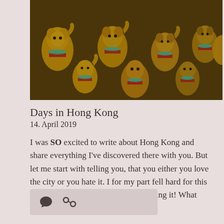[Figure (photo): Gold and colorful lucky cat (Maneki-neko) figurines photographed from above, showing multiple golden cats with teal and red accents]
Days in Hong Kong
14. April 2019
I was SO excited to write about Hong Kong and share everything I've discovered there with you. But let me start with telling you, that you either you love the city or you hate it. I for my part fell hard for this mega city, and I totally wasn't expecting it! What made me fall …
More